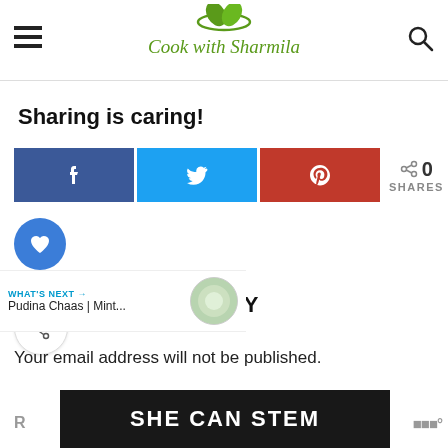Cook with Sharmila
Sharing is caring!
[Figure (infographic): Social share buttons: Facebook (blue), Twitter (cyan), Pinterest (red), and share count showing 0 SHARES with a share icon]
[Figure (infographic): Heart (like) button in blue circle, count of 1, and a share-plus button in white circle]
[Figure (infographic): What's Next promo bar showing Pudina Chaas | Mint... with a circular image]
A REPLY
Your email address will not be published.
[Figure (infographic): Advertisement banner with text SHE CAN STEM on dark background]